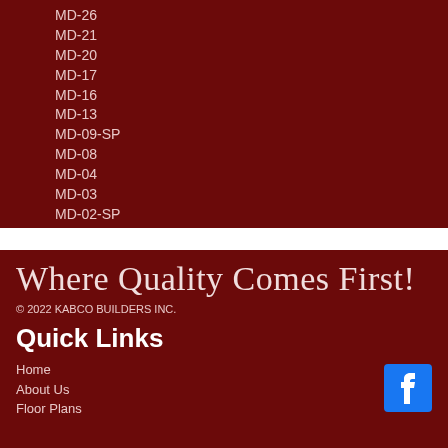MD-26
MD-21
MD-20
MD-17
MD-16
MD-13
MD-09-SP
MD-08
MD-04
MD-03
MD-02-SP
Where Quality Comes First!
© 2022 KABCO BUILDERS INC.
Quick Links
Home
About Us
Floor Plans
[Figure (logo): Facebook logo icon — blue square with white 'f' letter]